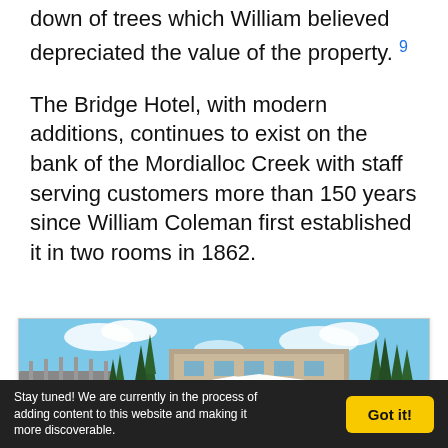down of trees which William believed depreciated the value of the property. 9
The Bridge Hotel, with modern additions, continues to exist on the bank of the Mordialloc Creek with staff serving customers more than 150 years since William Coleman first established it in two rooms in 1862.
[Figure (photo): Photograph of the Bridge Hotel on the bank of Mordialloc Creek, showing boats moored at the marina, tall Norfolk pine trees, a bridge on the left, and the hotel building with white tent/awning structures visible. Blue sky with clouds in the background.]
Stay tuned! We are currently in the process of adding content to this website and making it more discoverable.